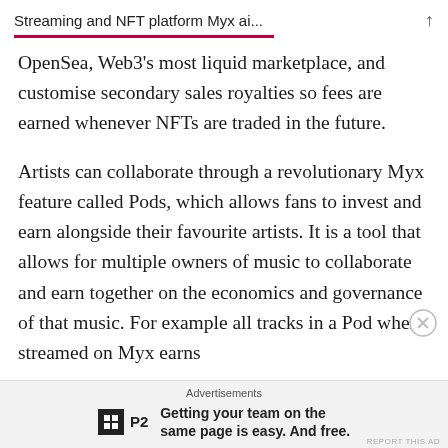Streaming and NFT platform Myx ai...
OpenSea, Web3's most liquid marketplace, and customise secondary sales royalties so fees are earned whenever NFTs are traded in the future.
Artists can collaborate through a revolutionary Myx feature called Pods, which allows fans to invest and earn alongside their favourite artists. It is a tool that allows for multiple owners of music to collaborate and earn together on the economics and governance of that music. For example all tracks in a Pod when streamed on Myx earns
Advertisements
Getting your team on the same page is easy. And free.